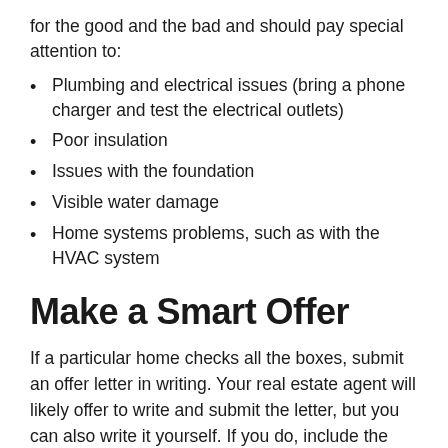for the good and the bad and should pay special attention to:
Plumbing and electrical issues (bring a phone charger and test the electrical outlets)
Poor insulation
Issues with the foundation
Visible water damage
Home systems problems, such as with the HVAC system
Make a Smart Offer
If a particular home checks all the boxes, submit an offer letter in writing. Your real estate agent will likely offer to write and submit the letter, but you can also write it yourself. If you do, include the following: